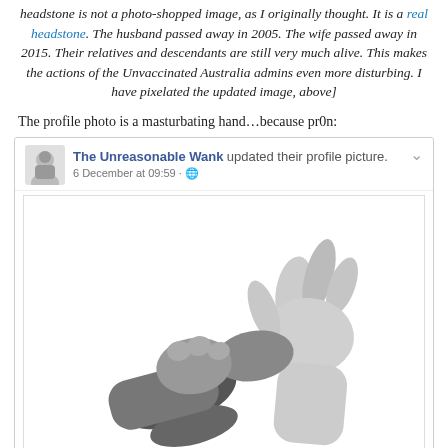headstone is not a photo-shopped image, as I originally thought. It is a real headstone. The husband passed away in 2005. The wife passed away in 2015. Their relatives and descendants are still very much alive. This makes the actions of the Unvaccinated Australia admins even more disturbing. I have pixelated the updated image, above]
The profile photo is a masturbating hand…because pr0n:
[Figure (screenshot): Facebook screenshot showing 'The Unreasonable Wank updated their profile picture. 6 December at 09:59' with a black and white photograph of two hands gripping each other.]